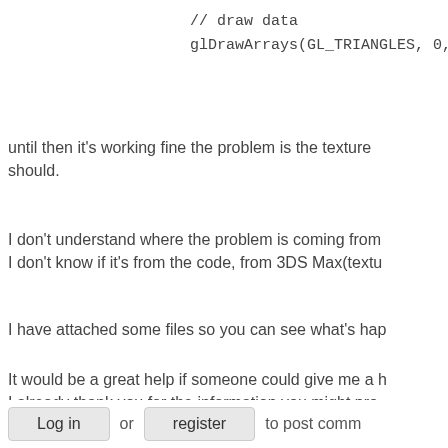// draw data
glDrawArrays(GL_TRIANGLES, 0, m
until then it's working fine the problem is the texture
should.
I don't understand where the problem is coming from
I don't know if it's from the code, from 3DS Max(textu
I have attached some files so you can see what's hap
It would be a great help if someone could give me a h
I already thank you for the information you might pro
Allan
Log in or register to post comm